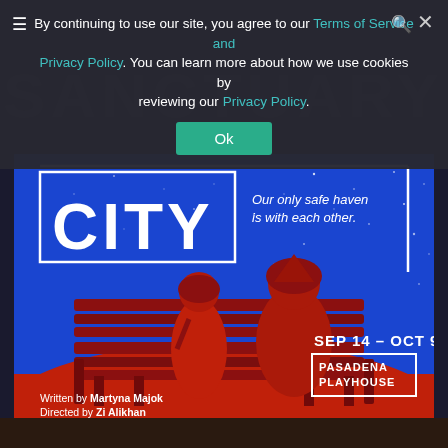By continuing to use our site, you agree to our Terms of Service and Privacy Policy. You can learn more about how we use cookies by reviewing our Privacy Policy.
[Figure (illustration): Theatre promotional poster for 'City' at Pasadena Playhouse. Blue background with night sky/stars, two figures sitting on a red park bench viewed from behind. Large white text 'CITY' in a box outline top-left. Tagline: 'Our only safe haven is with each other.' Date: SEP 14 - OCT 9. Credits: Written by Martyna Majok, Directed by Zi Alikhan.]
Written by Martyna Majok
Directed by Zi Alikhan
SEP 14 – OCT 9
PASADENA PLAYHOUSE